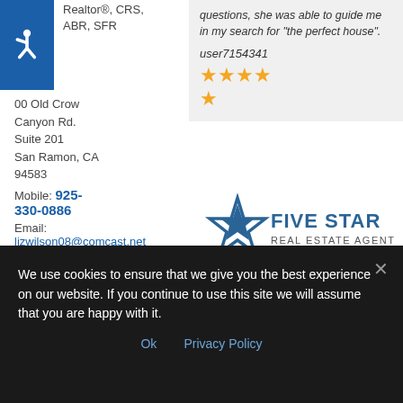[Figure (infographic): Blue accessibility wheelchair icon on dark blue background]
Walnut Creek
Realtor®, CRS, ABR, SFR
00 Old Crow Canyon Rd.
Suite 201
San Ramon, CA 94583
Mobile: 925-330-0886
Email: lizwilson08@comcast.net
questions, she was able to guide me in my search for "the perfect house".
user7154341
[Figure (infographic): Four gold stars rating (4 out of 5 stars displayed)]
[Figure (logo): Five Star Real Estate Agent logo with star icon and text 'Liz Wilson 5 times Since 2016']
We use cookies to ensure that we give you the best experience on our website. If you continue to use this site we will assume that you are happy with it.
Ok   Privacy Policy